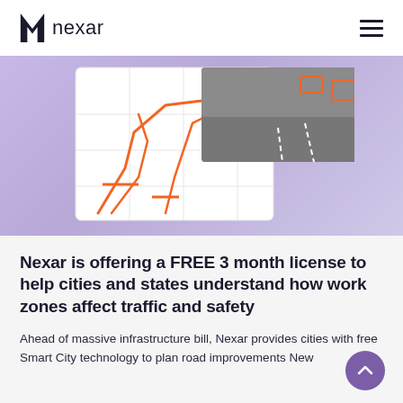nexar
[Figure (screenshot): Screenshot of a Nexar Smart City dashboard showing a map view with orange route/road overlays and a top-down street view with annotations, on a purple/lavender background.]
Nexar is offering a FREE 3 month license to help cities and states understand how work zones affect traffic and safety
Ahead of massive infrastructure bill, Nexar provides cities with free Smart City technology to plan road improvements New